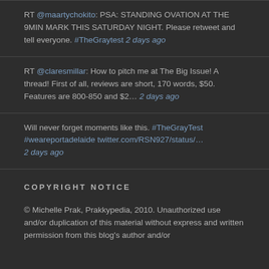RT @maartychokito: PSA: STANDING OVATION AT THE 9MIN MARK THIS SATURDAY NIGHT. Please retweet and tell everyone. #TheGraytest 2 days ago
RT @claresmillar: How to pitch me at The Big Issue! A thread! First of all, reviews are short, 170 words, $50. Features are 800-850 and $2… 2 days ago
Will never forget moments like this. #TheGrayTest #weareportadelaide twitter.com/RSN927/status/… 2 days ago
COPYRIGHT NOTICE
© Michelle Prak, Prakkypedia, 2010. Unauthorized use and/or duplication of this material without express and written permission from this blog's author and/or